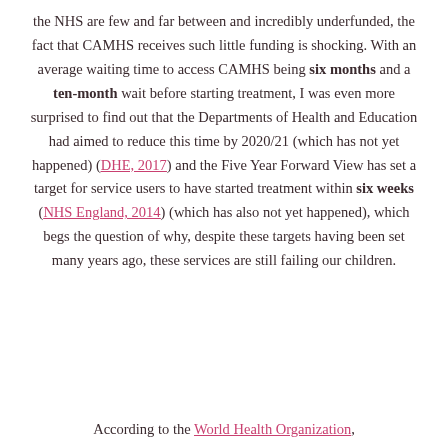the NHS are few and far between and incredibly underfunded, the fact that CAMHS receives such little funding is shocking. With an average waiting time to access CAMHS being six months and a ten-month wait before starting treatment, I was even more surprised to find out that the Departments of Health and Education had aimed to reduce this time by 2020/21 (which has not yet happened) (DHE, 2017) and the Five Year Forward View has set a target for service users to have started treatment within six weeks (NHS England, 2014) (which has also not yet happened), which begs the question of why, despite these targets having been set many years ago, these services are still failing our children.
According to the World Health Organization,